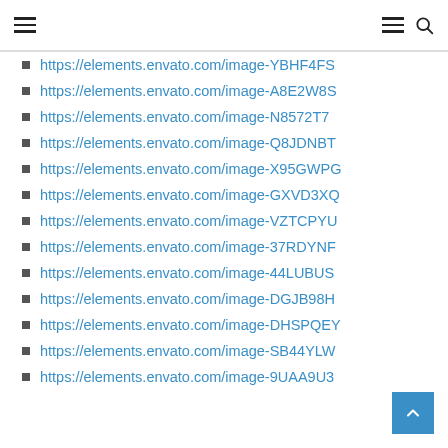Navigation header with menu and search icons
https://elements.envato.com/image-YBHF4FS
https://elements.envato.com/image-A8E2W8S
https://elements.envato.com/image-N8572T7
https://elements.envato.com/image-Q8JDNBT
https://elements.envato.com/image-X95GWPG
https://elements.envato.com/image-GXVD3XQ
https://elements.envato.com/image-VZTCPYU
https://elements.envato.com/image-37RDYNF
https://elements.envato.com/image-44LUBUS
https://elements.envato.com/image-DGJB98H
https://elements.envato.com/image-DHSPQEY
https://elements.envato.com/image-SB44YLW
https://elements.envato.com/image-9UAA9U3